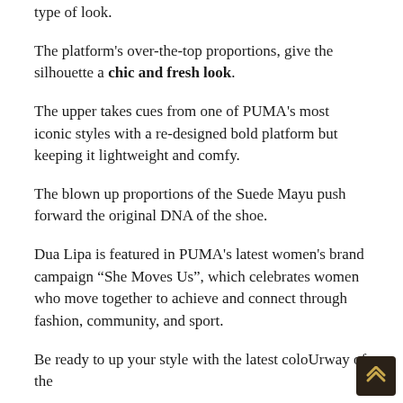type of look.
The platform's over-the-top proportions, give the silhouette a chic and fresh look.
The upper takes cues from one of PUMA's most iconic styles with a re-designed bold platform but keeping it lightweight and comfy.
The blown up proportions of the Suede Mayu push forward the original DNA of the shoe.
Dua Lipa is featured in PUMA's latest women's brand campaign “She Moves Us”, which celebrates women who move together to achieve and connect through fashion, community, and sport.
Be ready to up your style with the latest coloUrway of the